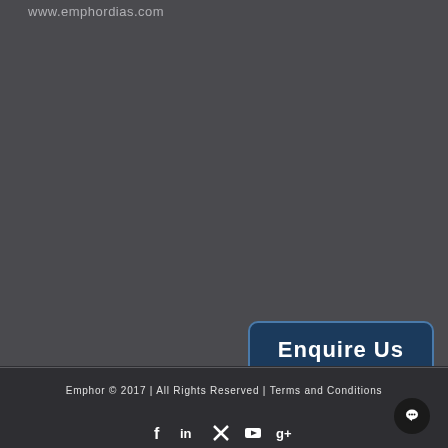www.emphordias.com
[Figure (other): Enquire Us button — dark navy blue rounded rectangle with white bold text]
Emphor © 2017 | All Rights Reserved | Terms and Conditions
[Figure (other): Chat icon — black circle with white chat bubble symbol]
[Figure (other): Social media icons row: Facebook, LinkedIn, X/Twitter, YouTube, Google+]